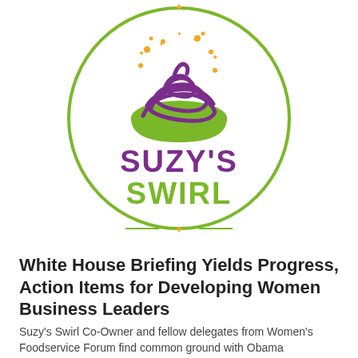[Figure (logo): Suzy's Swirl logo: a green circle border containing a purple swirled ice cream/frozen yogurt icon in a green bowl with orange sparkle stars, and the text SUZY'S in purple and SWIRL in green below it, plus a small orange star at the bottom of the circle.]
White House Briefing Yields Progress, Action Items for Developing Women Business Leaders
Suzy's Swirl Co-Owner and fellow delegates from Women's Foodservice Forum find common ground with Obama Administration More than 20 women